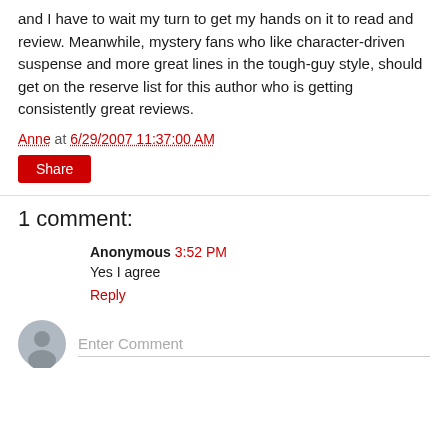and I have to wait my turn to get my hands on it to read and review. Meanwhile, mystery fans who like character-driven suspense and more great lines in the tough-guy style, should get on the reserve list for this author who is getting consistently great reviews.
Anne at 6/29/2007 11:37:00 AM
Share
1 comment:
Anonymous 3:52 PM
Yes I agree
Reply
Enter Comment